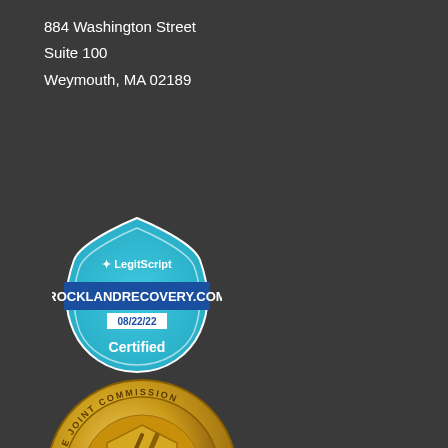884 Washington Street
Suite 100
Weymouth, MA 02189
[Figure (logo): LegitScript Certified badge for ROCKLANDRECOVERY.COM dated 08/22/22 - a hexagonal shape with cyan/blue color scheme]
[Figure (logo): The Joint Commission National Quality Approval gold seal/medallion badge]